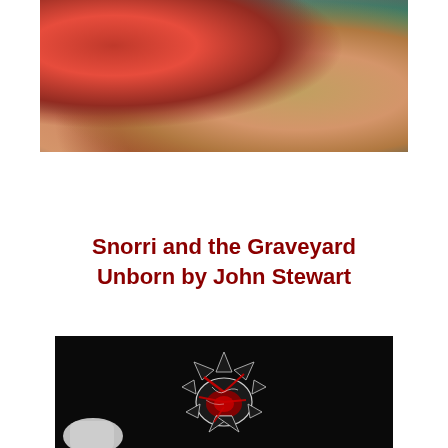[Figure (photo): Close-up photo of what appears to be a diseased or wounded animal surface — reddish, raw tissue with fur in teal, dark, and earthy tones]
Snorri and the Graveyard Unborn by John Stewart
[Figure (illustration): Dark black-background illustration of a spiky monstrous creature with red internal glow and tendrils, rendered in ink-style black, white, and red; a pale ghost-like shape appears at lower left]